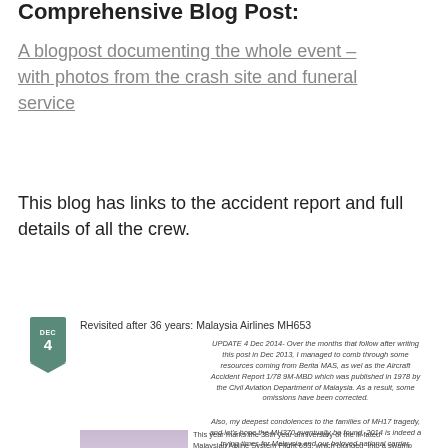Comprehensive Blog Post:
A blogpost documenting the whole event – with photos from the crash site and funeral service
This blog has links to the accident report and full details of all the crew.
Revisited after 36 years: Malaysia Airlines MH653
UPDATE 4 Dec 2014- Over the months that follow after writing this post in Dec 2013, I managed to comb through some resources coming from Berita MAS, as well as the Aircraft Accident Report 1/78 9M-MBD which was published in 1978 by the Civil Aviation Department of Malaysia. As a result, some omissions have been corrected.

Also, my deepest condolences to the families of MH17 tragedy, and let's hope the MH370 eventually be found. 2014 is indeed a trying times for Malaysia and our beloved national carrier, Malaysia Airlines.
[Figure (photo): Photo showing hills or landscape, likely the crash site area in Kampong Ladang, Tanjong Kupang, Johor]
This year marks the 38th year anniversary of the ill-fated Malaysian Airline System Flight 653, which plunged into a swamp in Kampong Ladang, Tanjong Kupang, Johor.